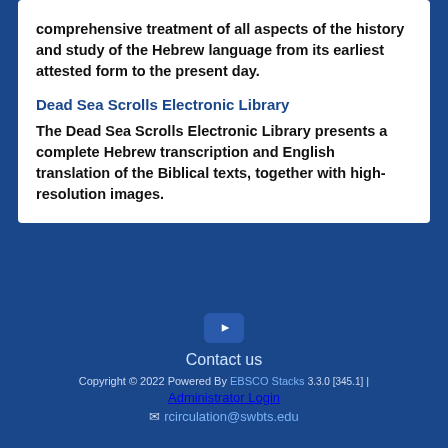comprehensive treatment of all aspects of the history and study of the Hebrew language from its earliest attested form to the present day.
Dead Sea Scrolls Electronic Library
The Dead Sea Scrolls Electronic Library presents a complete Hebrew transcription and English translation of the Biblical texts, together with high-resolution images.
Contact us
Copyright © 2022 Powered By EBSCO Stacks 3.3.0 [345.1] | Administrator Login
rcirculation@swbts.edu